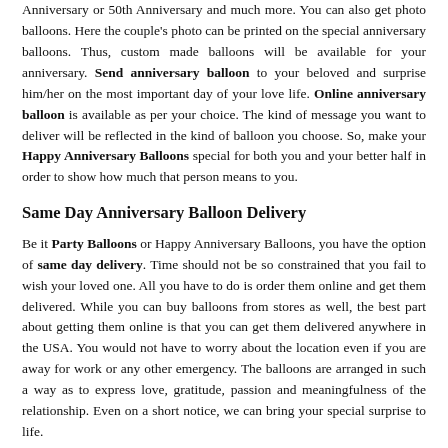Anniversary or 50th Anniversary and much more. You can also get photo balloons. Here the couple's photo can be printed on the special anniversary balloons. Thus, custom made balloons will be available for your anniversary. Send anniversary balloon to your beloved and surprise him/her on the most important day of your love life. Online anniversary balloon is available as per your choice. The kind of message you want to deliver will be reflected in the kind of balloon you choose. So, make your Happy Anniversary Balloons special for both you and your better half in order to show how much that person means to you.
Same Day Anniversary Balloon Delivery
Be it Party Balloons or Happy Anniversary Balloons, you have the option of same day delivery. Time should not be so constrained that you fail to wish your loved one. All you have to do is order them online and get them delivered. While you can buy balloons from stores as well, the best part about getting them online is that you can get them delivered anywhere in the USA. You would not have to worry about the location even if you are away for work or any other emergency. The balloons are arranged in such a way as to express love, gratitude, passion and meaningfulness of the relationship. Even on a short notice, we can bring your special surprise to life.